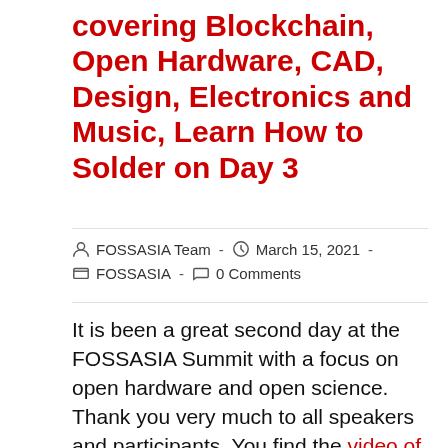covering Blockchain, Open Hardware, CAD, Design, Electronics and Music, Learn How to Solder on Day 3
FOSSASIA Team  -  March 15, 2021  -  FOSSASIA  -  0 Comments
It is been a great second day at the FOSSASIA Summit with a focus on open hardware and open science. Thank you very much to all speakers and participants. You find the video of